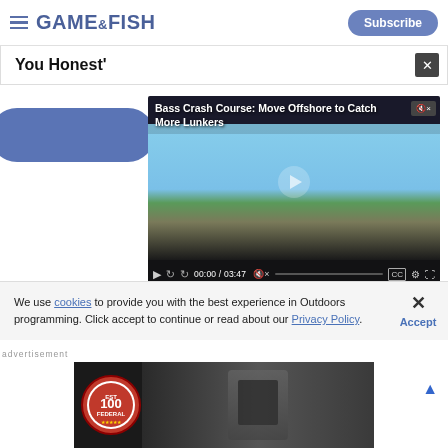GAME&FISH | Subscribe
You Honest'
[Figure (screenshot): Video player showing 'Bass Crash Course: Move Offshore to Catch More Lunkers' with a fisherman standing on a boat, time 00:00 / 03:47]
GET THE MAGAZINE
We use cookies to provide you with the best experience in Outdoors programming. Click accept to continue or read about our Privacy Policy.
Advertisement
[Figure (photo): Federal ammunition advertisement showing a person working with equipment, Federal 100 year badge logo visible]